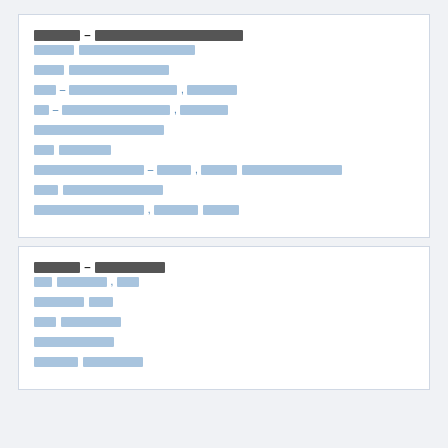[REDACTED] - [REDACTED REDACTED REDACTED REDACTED REDACTED]
[REDACTED] [REDACTED REDACTED REDACTED REDACTED REDACTED]
[REDACTED] [REDACTED REDACTED REDACTED REDACTED]
[REDACTED] - [REDACTED REDACTED REDACTED REDACTED REDACTED REDACTED], [REDACTED REDACTED]
[REDACTED] - [REDACTED REDACTED REDACTED REDACTED REDACTED REDACTED], [REDACTED REDACTED]
[REDACTED REDACTED REDACTED REDACTED REDACTED REDACTED]
[REDACTED] [REDACTED REDACTED]
[REDACTED REDACTED REDACTED REDACTED REDACTED] - [REDACTED], [REDACTED REDACTED] [REDACTED REDACTED REDACTED REDACTED REDACTED REDACTED]
[REDACTED] [REDACTED REDACTED REDACTED REDACTED REDACTED]
[REDACTED REDACTED REDACTED REDACTED REDACTED], [REDACTED REDACTED] [REDACTED REDACTED]
[REDACTED] - [REDACTED REDACTED REDACTED]
[REDACTED] [REDACTED REDACTED], [REDACTED]
[REDACTED REDACTED] [REDACTED]
[REDACTED] [REDACTED REDACTED REDACTED]
[REDACTED REDACTED REDACTED REDACTED]
[REDACTED REDACTED] [REDACTED REDACTED REDACTED]